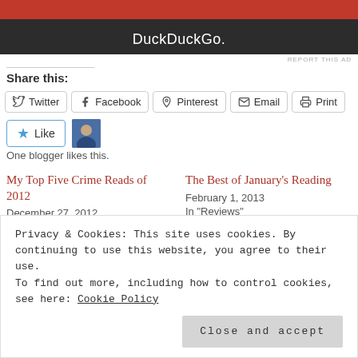[Figure (screenshot): DuckDuckGo advertisement banner with orange top and dark background showing DuckDuckGo logo and text]
REPORT THIS AD
Share this:
Twitter
Facebook
Pinterest
Email
Print
Like
One blogger likes this.
My Top Five Crime Reads of 2012
December 27, 2012
In "Reviews"
The Best of January's Reading
February 1, 2013
In "Reviews"
Privacy & Cookies: This site uses cookies. By continuing to use this website, you agree to their use. To find out more, including how to control cookies, see here: Cookie Policy
Close and accept